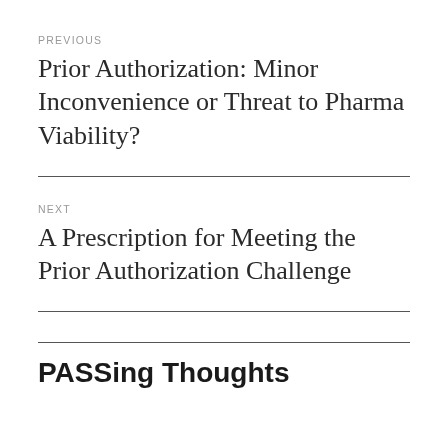PREVIOUS
Prior Authorization: Minor Inconvenience or Threat to Pharma Viability?
NEXT
A Prescription for Meeting the Prior Authorization Challenge
PASSing Thoughts